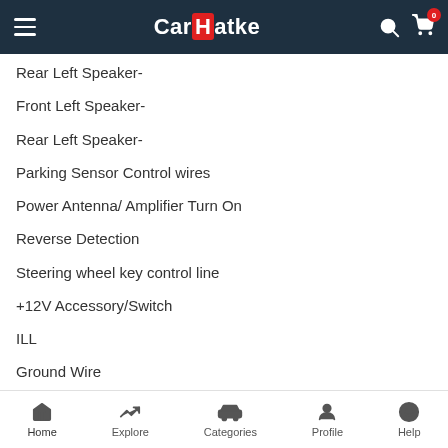CarHatke
Rear Left Speaker-
Front Left Speaker-
Rear Left Speaker-
Parking Sensor Control wires
Power Antenna/ Amplifier Turn On
Reverse Detection
Steering wheel key control line
+12V Accessory/Switch
ILL
Ground Wire
+12 Constant Power Supply
Stereo Compatible:-
Home  Explore  Categories  Profile  Help